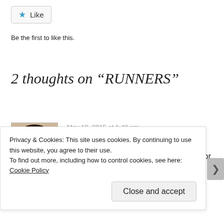[Figure (other): Like button with star icon and text 'Like']
Be the first to like this.
2 thoughts on “RUNNERS”
[Figure (photo): Avatar photo of a man]
May 19, 2015 at 1:40 pm
Hi,
This is Neel here. I have registered for the
Privacy & Cookies: This site uses cookies. By continuing to use this website, you agree to their use.
To find out more, including how to control cookies, see here: Cookie Policy
Close and accept